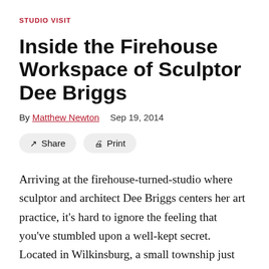STUDIO VISIT
Inside the Firehouse Workspace of Sculptor Dee Briggs
By Matthew Newton   Sep 19, 2014
Arriving at the firehouse-turned-studio where sculptor and architect Dee Briggs centers her art practice, it's hard to ignore the feeling that you've stumbled upon a well-kept secret. Located in Wilkinsburg, a small township just